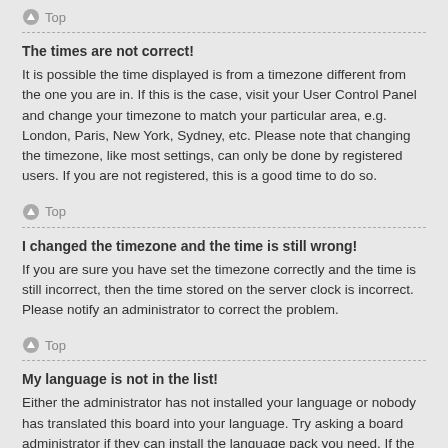Top
The times are not correct!
It is possible the time displayed is from a timezone different from the one you are in. If this is the case, visit your User Control Panel and change your timezone to match your particular area, e.g. London, Paris, New York, Sydney, etc. Please note that changing the timezone, like most settings, can only be done by registered users. If you are not registered, this is a good time to do so.
Top
I changed the timezone and the time is still wrong!
If you are sure you have set the timezone correctly and the time is still incorrect, then the time stored on the server clock is incorrect. Please notify an administrator to correct the problem.
Top
My language is not in the list!
Either the administrator has not installed your language or nobody has translated this board into your language. Try asking a board administrator if they can install the language pack you need. If the language pack does not exist, feel free to create a new translation. More information can be found at the phpBB website.